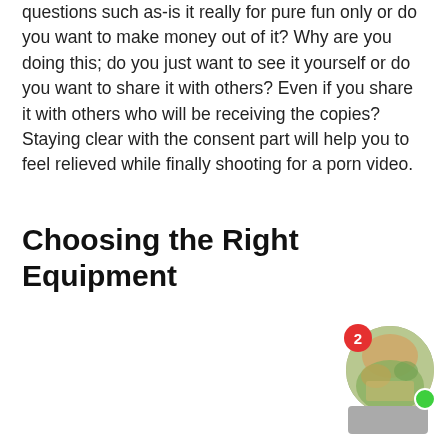questions such as-is it really for pure fun only or do you want to make money out of it? Why are you doing this; do you just want to see it yourself or do you want to share it with others? Even if you share it with others who will be receiving the copies? Staying clear with the consent part will help you to feel relieved while finally shooting for a porn video.
Choosing the Right Equipment
[Figure (screenshot): UI widget showing a circular avatar with an outdoor scene, a red badge with the number 2, a green online indicator dot, and a gray bar at the bottom.]